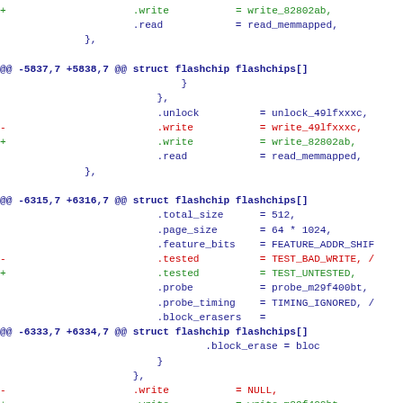diff/patch code showing flashchip write function replacements in C source
[Figure (screenshot): Source code diff showing C struct assignments for flashchip write, read, unlock fields with added/removed lines highlighted in green/red, and diff hunk headers in blue monospace font.]